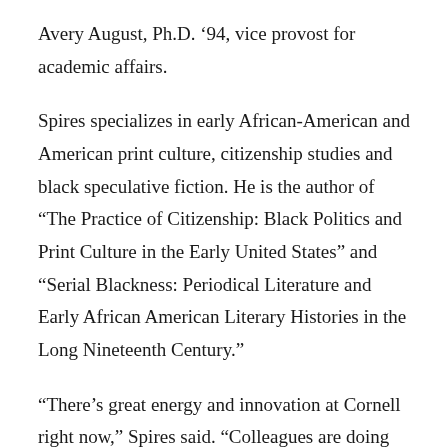Avery August, Ph.D. '94, vice provost for academic affairs.
Spires specializes in early African-American and American print culture, citizenship studies and black speculative fiction. He is the author of “The Practice of Citizenship: Black Politics and Print Culture in the Early United States” and “Serial Blackness: Periodical Literature and Early African American Literary Histories in the Long Nineteenth Century.”
“There’s great energy and innovation at Cornell right now,” Spires said. “Colleagues are doing exciting work, especially in the 19th century and around questions of genre and form, and the projects graduate students are developing fascinate me.”